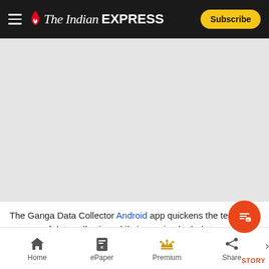The Indian EXPRESS — Subscribe
[Figure (photo): Gray placeholder image area for the Ganga Data Collector Android app article]
The Ganga Data Collector Android app quickens the tedious process of data collection while improving both data visualisation and security. (Source: WII)
Home | ePaper | Premium | Share | STORY